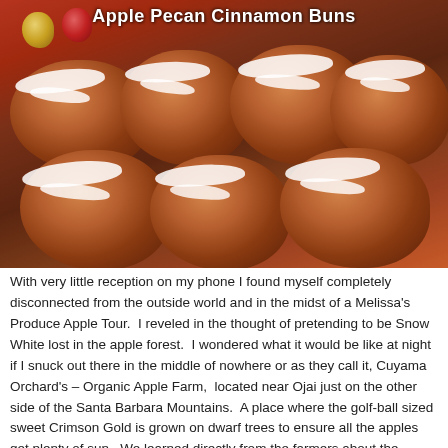[Figure (photo): Photo of Apple Pecan Cinnamon Buns topped with white icing/glaze and pecan pieces, arranged on a red surface. Two apples visible in the upper left background. Red background. Title 'Apple Pecan Cinnamon Buns' overlaid at top.]
With very little reception on my phone I found myself completely disconnected from the outside world and in the midst of a Melissa's Produce Apple Tour.  I reveled in the thought of pretending to be Snow White lost in the apple forest.  I wondered what it would be like at night if I snuck out there in the middle of nowhere or as they call it, Cuyama Orchard's – Organic Apple Farm,  located near Ojai just on the other side of the Santa Barbara Mountains.  A place where the golf-ball sized sweet Crimson Gold is grown on dwarf trees to ensure all the apples get plenty of sun.  We learned directly from the farmers about the measurement of